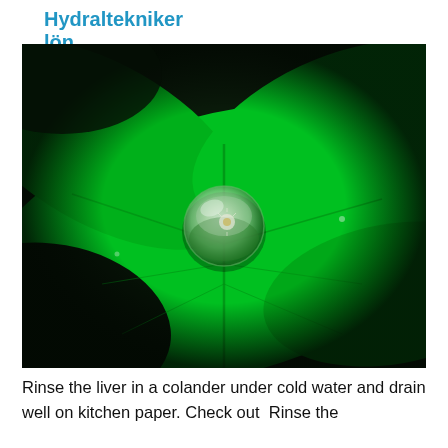Hydraltekniker lön
[Figure (photo): Close-up macro photograph of a large water droplet sitting on a bright green leaf. The droplet reflects the surrounding foliage inside it. The background is dark, making the vivid green leaf and clear droplet stand out prominently.]
Rinse the liver in a colander under cold water and drain well on kitchen paper. Check out  Rinse the